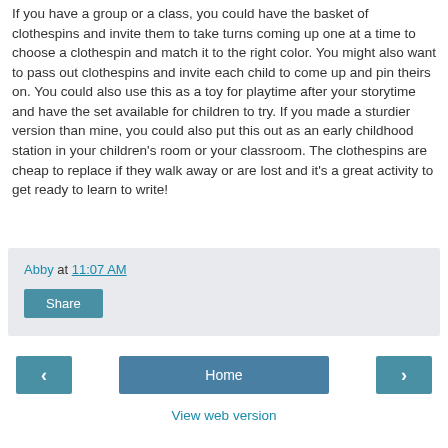If you have a group or a class, you could have the basket of clothespins and invite them to take turns coming up one at a time to choose a clothespin and match it to the right color. You might also want to pass out clothespins and invite each child to come up and pin theirs on. You could also use this as a toy for playtime after your storytime and have the set available for children to try. If you made a sturdier version than mine, you could also put this out as an early childhood station in your children's room or your classroom. The clothespins are cheap to replace if they walk away or are lost and it's a great activity to get ready to learn to write!
Abby at 11:07 AM
Share
Home
View web version